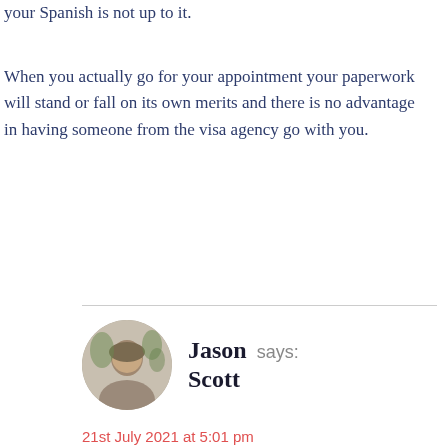your Spanish is not up to it.
When you actually go for your appointment your paperwork will stand or fall on its own merits and there is no advantage in having someone from the visa agency go with you.
Jason Scott says:
21st July 2021 at 5:01 pm
Hey Jonathan, thanks for providing the detailed write-up of your experience. Great that you got yourself